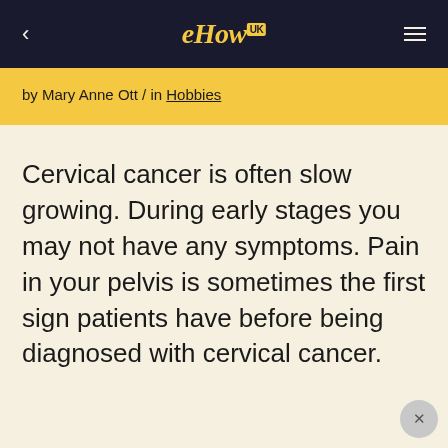eHow UK
by Mary Anne Ott / in Hobbies
Cervical cancer is often slow growing. During early stages you may not have any symptoms. Pain in your pelvis is sometimes the first sign patients have before being diagnosed with cervical cancer.